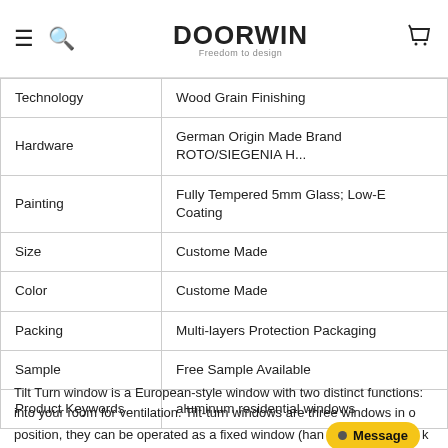DOORWIN — navigation bar with hamburger, search, logo, and cart icons
| Property | Value |
| --- | --- |
| Technology | Wood Grain Finishing |
| Hardware | German Origin Made Brand ROTO/SIEGENIA H... |
| Painting | Fully Tempered 5mm Glass; Low-E Coating |
| Size | Custome Made |
| Color | Custome Made |
| Packing | Multi-layers Protection Packaging |
| Sample | Free Sample Available |
| Product Keywords | aluminum residential windows |
Tilt Turn window is a European-style window with two distinct functions: into your room for ventilation. Tilt-turn windows are three windows in o position, they can be operated as a fixed window (handle in 3 o'clock position) or hopper window (handle in 12 o'clock position).